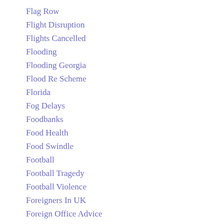Flag Row
Flight Disruption
Flights Cancelled
Flooding
Flooding Georgia
Flood Re Scheme
Florida
Fog Delays
Foodbanks
Food Health
Food Swindle
Football
Football Tragedy
Football Violence
Foreigners In UK
Foreign Office Advice
Fort Greene Park